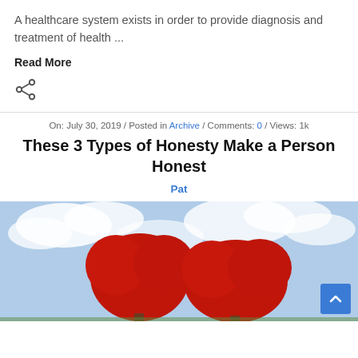A healthcare system exists in order to provide diagnosis and treatment of health ...
Read More
[Figure (other): Share icon (less-than-style share symbol)]
On: July 30, 2019 / Posted in Archive / Comments: 0 / Views: 1k
These 3 Types of Honesty Make a Person Honest
Pat
[Figure (photo): Two red heart-shaped trees against a blue cloudy sky]